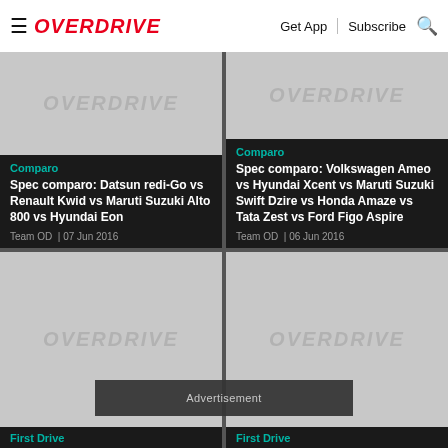≡ OVERDRIVE  Get App | Subscribe 🔍
[Figure (photo): Placeholder image with OVERDRIVE watermark for Datsun redi-Go comparo article]
Comparo
Spec comparo: Datsun redi-Go vs Renault Kwid vs Maruti Suzuki Alto 800 vs Hyundai Eon
Team OD | 07 Jun 2016
[Figure (photo): Placeholder image with OVERDRIVE watermark for Volkswagen Ameo comparo article]
Comparo
Spec comparo: Volkswagen Ameo vs Hyundai Xcent vs Maruti Suzuki Swift Dzire vs Honda Amaze vs Tata Zest vs Ford Figo Aspire
Team OD | 06 Jun 2016
[Figure (photo): Placeholder image with OVERDRIVE watermark for First Drive article (left)]
[Figure (photo): Placeholder image with OVERDRIVE watermark for First Drive article (right)]
Advertisement
First Drive
First Drive